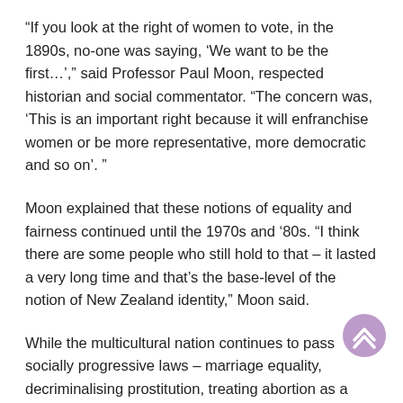“If you look at the right of women to vote, in the 1890s, no-one was saying, ‘We want to be the first…’,” said Professor Paul Moon, respected historian and social commentator. “The concern was, ‘This is an important right because it will enfranchise women or be more representative, more democratic and so on’. ”
Moon explained that these notions of equality and fairness continued until the 1970s and ‘80s. “I think there are some people who still hold to that – it lasted a very long time and that’s the base-level of the notion of New Zealand identity,” Moon said.
While the multicultural nation continues to pass socially progressive laws – marriage equality, decriminalising prostitution, treating abortion as a health not criminal issue